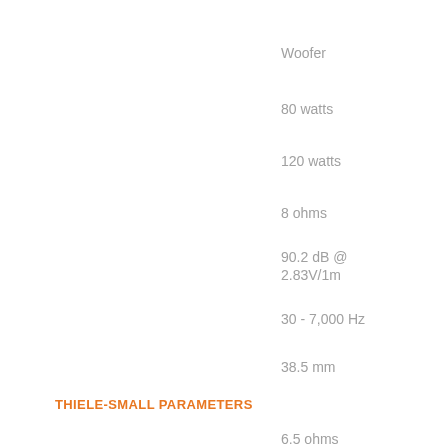Woofer
80 watts
120 watts
8 ohms
90.2 dB @ 2.83V/1m
30 - 7,000 Hz
38.5 mm
THIELE-SMALL PARAMETERS
6.5 ohms
0.85 @ 1 kHz
32.3 Hz